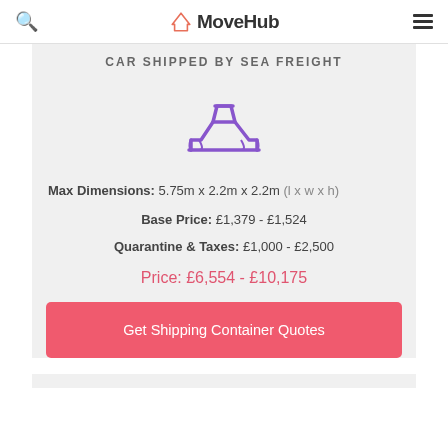MoveHub
CAR SHIPPED BY SEA FREIGHT
[Figure (illustration): Purple line icon of a car (side view silhouette/outline) indicating car shipping service]
Max Dimensions: 5.75m x 2.2m x 2.2m (l x w x h)
Base Price: £1,379 - £1,524
Quarantine & Taxes: £1,000 - £2,500
Price: £6,554 - £10,175
Get Shipping Container Quotes